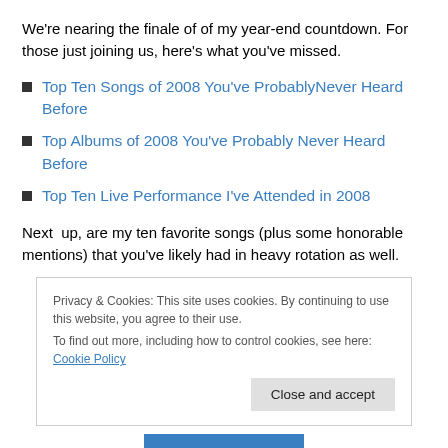We're nearing the finale of of my year-end countdown. For those just joining us, here's what you've missed.
Top Ten Songs of 2008 You've ProbablyNever Heard Before
Top Albums of 2008 You've Probably Never Heard Before
Top Ten Live Performance I've Attended in 2008
Next  up, are my ten favorite songs (plus some honorable mentions) that you've likely had in heavy rotation as well.
Privacy & Cookies: This site uses cookies. By continuing to use this website, you agree to their use.
To find out more, including how to control cookies, see here: Cookie Policy
Close and accept